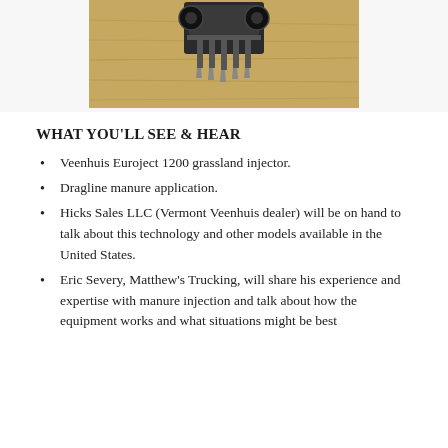[Figure (photo): Veenhuis Euroject 1200 grassland injector machine operating on dry grassland/hay field, viewed from above and behind, showing tine injectors in soil.]
WHAT YOU'LL SEE & HEAR
Veenhuis Euroject 1200 grassland injector.
Dragline manure application.
Hicks Sales LLC (Vermont Veenhuis dealer) will be on hand to talk about this technology and other models available in the United States.
Eric Severy, Matthew's Trucking, will share his experience and expertise with manure injection and talk about how the equipment works and what situations might be best